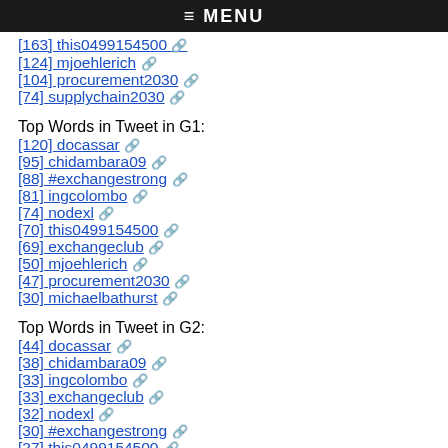≡ MENU
[163] this0499154500 🔗
[124] mjoehlerich 🔗
[104] procurement2030 🔗
[74] supplychain2030 🔗
Top Words in Tweet in G1:
[120] docassar 🔗
[95] chidambara09 🔗
[88] #exchangestrong 🔗
[81] ingcolombo 🔗
[74] nodexl 🔗
[70] this0499154500 🔗
[69] exchangeclub 🔗
[50] mjoehlerich 🔗
[47] procurement2030 🔗
[30] michaelbathurst 🔗
Top Words in Tweet in G2:
[44] docassar 🔗
[38] chidambara09 🔗
[33] ingcolombo 🔗
[33] exchangeclub 🔗
[32] nodexl 🔗
[30] #exchangestrong 🔗
[27] this0499154500 🔗